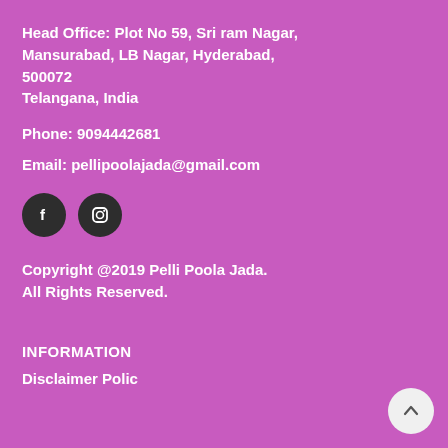Head Office: Plot No 59, Sri ram Nagar, Mansurabad, LB Nagar, Hyderabad, 500072
Telangana, India
Phone: 9094442681
Email: pellipoolajada@gmail.com
[Figure (illustration): Two social media icon circles: Facebook (f) and Instagram (camera icon), on dark circular backgrounds]
Copyright @2019 Pelli Poola Jada.
All Rights Reserved.
INFORMATION
Disclaimer Polic